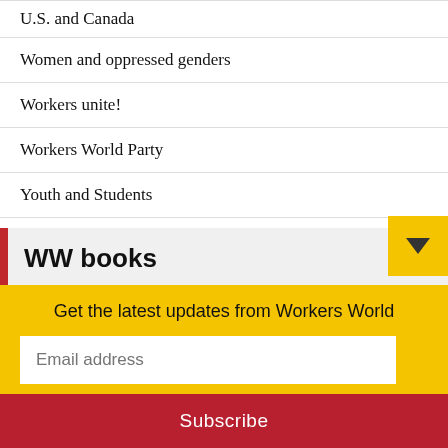U.S. and Canada
Women and oppressed genders
Workers unite!
Workers World Party
Youth and Students
WW books
[Figure (photo): Book cover: The Roots of Lesbian & Gay Oppression — A Marxist View]
Get the latest updates from Workers World
Email address
Subscribe